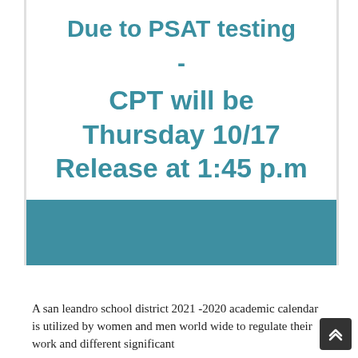Due to PSAT testing
-
CPT will be Thursday 10/17 Release at 1:45 p.m
[Figure (other): Teal/dark cyan horizontal decorative bar]
A san leandro school district 2021 -2020 academic calendar is utilized by women and men world wide to regulate their work and different significant